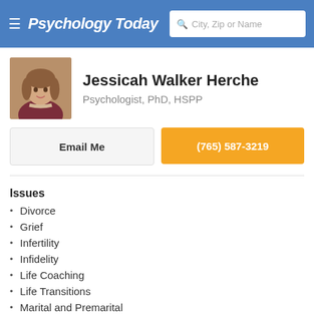Psychology Today
Jessicah Walker Herche
Psychologist, PhD, HSPP
Email Me
(765) 587-3219
Issues
Divorce
Grief
Infertility
Infidelity
Life Coaching
Life Transitions
Marital and Premarital
Pregnancy, Prenatal, Postpartum
Relationship Issues
Sex Therapy